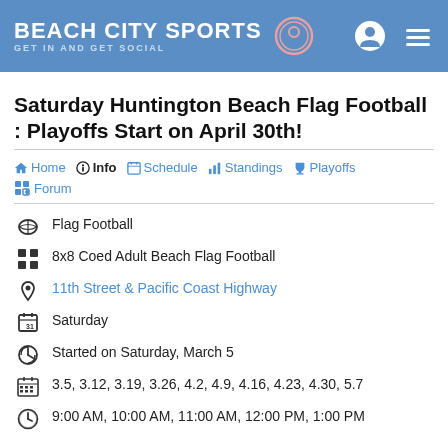BEACH CITY SPORTS — GET IN AND GET SOCIAL
Saturday Huntington Beach Flag Football : Playoffs Start on April 30th!
Home
Info
Schedule
Standings
Playoffs
Forum
Flag Football
8x8 Coed Adult Beach Flag Football
11th Street & Pacific Coast Highway
Saturday
Started on Saturday, March 5
3.5, 3.12, 3.19, 3.26, 4.2, 4.9, 4.16, 4.23, 4.30, 5.7
9:00 AM, 10:00 AM, 11:00 AM, 12:00 PM, 1:00 PM